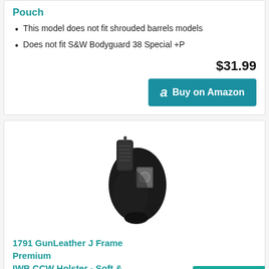Pouch
This model does not fit shrouded barrels models
Does not fit S&W Bodyguard 38 Special +P
$31.99
Buy on Amazon
[Figure (photo): Black leather IWB holster for J Frame revolver, shown with gun grip visible at top]
1791 GunLeather J Frame Premium IWB CCW Holster - Soft & Comfortable Right